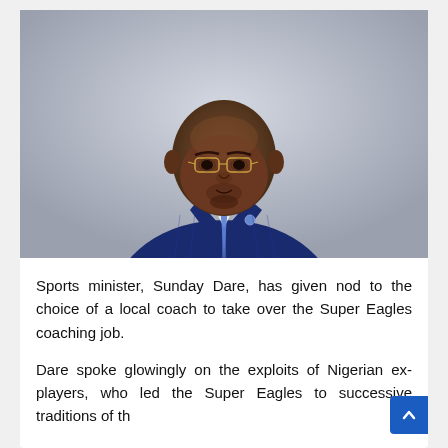[Figure (photo): Portrait photo of a middle-aged Black man wearing glasses, a navy blue pinstripe suit, white shirt, and blue tie with white dots, against a light grey background.]
Sports minister, Sunday Dare, has given nod to the choice of a local coach to take over the Super Eagles coaching job.
Dare spoke glowingly on the exploits of Nigerian ex-players, who led the Super Eagles to successive traditions of the